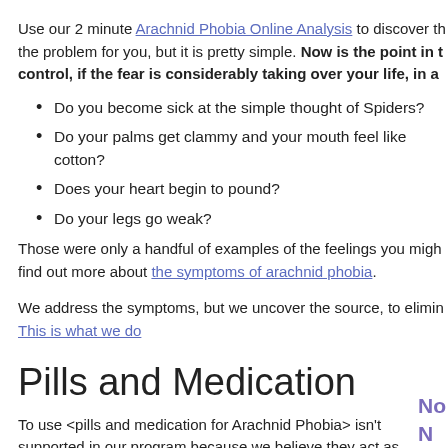Use our 2 minute Arachnid Phobia Online Analysis to discover th... the problem for you, but it is pretty simple. Now is the point in t... control, if the fear is considerably taking over your life, in a...
Do you become sick at the simple thought of Spiders?
Do your palms get clammy and your mouth feel like cotton?
Does your heart begin to pound?
Do your legs go weak?
Those were only a handful of examples of the feelings you migh... find out more about the symptoms of arachnid phobia.
We address the symptoms, but we uncover the source, to elimin... This is what we do
Pills and Medication
To use <pills and medication for Arachnid Phobia> isn't supported in our program because we believe they act as